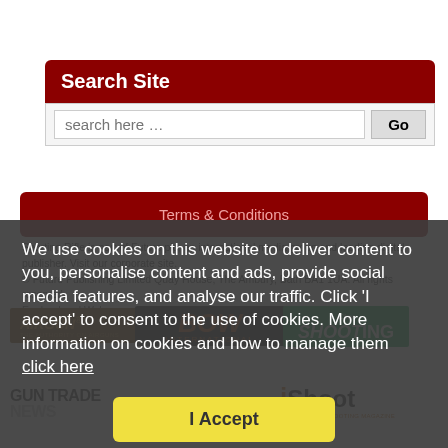Search Site
search here …
Terms & Conditions
Sporting Rifle is part of Future plc, an international media group and leading digital publisher. Visit our corporate site. © Future Publishing Limited Quay House, The Ambury, Bath BA1 1UA. All rights reserved. England and Wales company registration number 2008885. Design
[Figure (logo): Airgun World logo]
[Figure (logo): Bow International logo]
[Figure (logo): Clay Shooting logo]
[Figure (logo): Gun Trade News logo]
[Figure (logo): iShoot magazine logo]
We use cookies on this website to deliver content to you, personalise content and ads, provide social media features, and analyse our traffic. Click 'I accept' to consent to the use of cookies. More information on cookies and how to manage them click here
I Accept